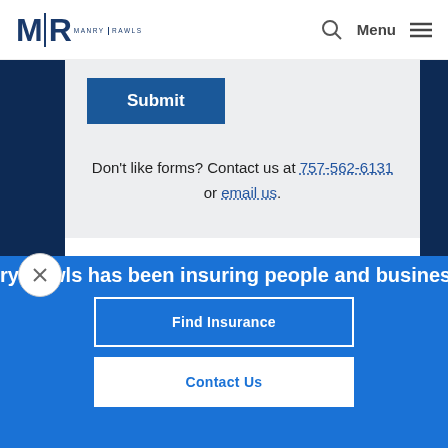[Figure (logo): Manry Rawls logo: M|R monogram with MANRY RAWLS text below]
Submit
Don't like forms? Contact us at 757-562-6131 or email us.
ry Rawls has been insuring people and business
Find Insurance
Contact Us